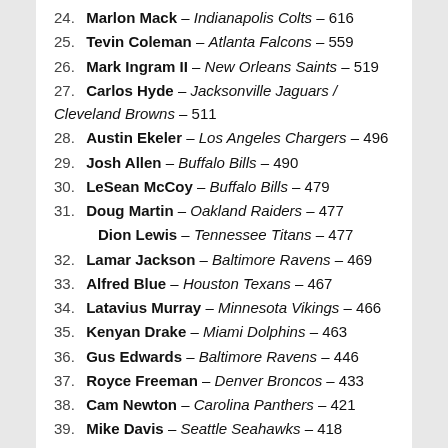24. Marlon Mack – Indianapolis Colts – 616
25. Tevin Coleman – Atlanta Falcons – 559
26. Mark Ingram II – New Orleans Saints – 519
27. Carlos Hyde – Jacksonville Jaguars / Cleveland Browns – 511
28. Austin Ekeler – Los Angeles Chargers – 496
29. Josh Allen – Buffalo Bills – 490
30. LeSean McCoy – Buffalo Bills – 479
31. Doug Martin – Oakland Raiders – 477
Dion Lewis – Tennessee Titans – 477
32. Lamar Jackson – Baltimore Ravens – 469
33. Alfred Blue – Houston Texans – 467
34. Latavius Murray – Minnesota Vikings – 466
35. Kenyan Drake – Miami Dolphins – 463
36. Gus Edwards – Baltimore Ravens – 446
37. Royce Freeman – Denver Broncos – 433
38. Cam Newton – Carolina Panthers – 421
39. Mike Davis – Seattle Seahawks – 418
40. Rashaad Penny – Seattle Seahawks – 413
41. Josh Adams – Philadelphia Eagles – 412
42. Alex Collins – Baltimore Ravens – 411